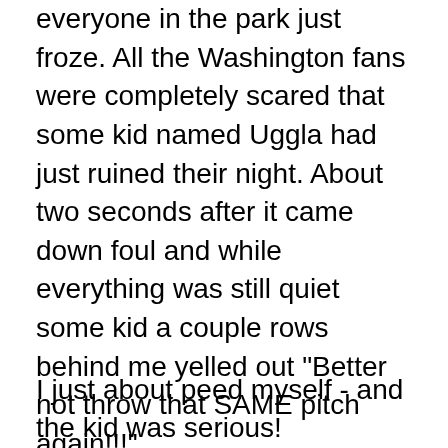everyone in the park just froze.  All the Washington fans were completely scared that some kid named Uggla had just ruined their night.  About two seconds after it came down foul and while everything was still quiet some kid a couple rows behind me yelled out "Better not throw that SAME pitch again!!!"
I just about peed myself - and the kid was serious!